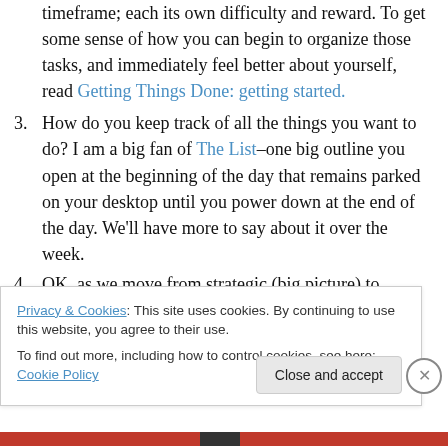timeframe; each its own difficulty and reward. To get some sense of how you can begin to organize those tasks, and immediately feel better about yourself, read Getting Things Done: getting started.
3. How do you keep track of all the things you want to do? I am a big fan of The List–one big outline you open at the beginning of the day that remains parked on your desktop until you power down at the end of the day. We'll have more to say about it over the week.
4. OK, as we move from strategic (big picture) to tactical (simple tools) let's tackle one of the biggest hurdles
Privacy & Cookies: This site uses cookies. By continuing to use this website, you agree to their use. To find out more, including how to control cookies, see here: Cookie Policy